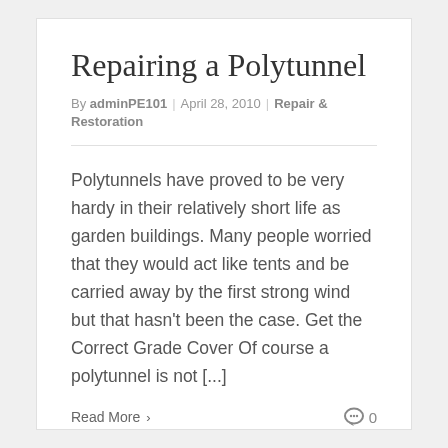Repairing a Polytunnel
By adminPE101 | April 28, 2010 | Repair & Restoration
Polytunnels have proved to be very hardy in their relatively short life as garden buildings. Many people worried that they would act like tents and be carried away by the first strong wind but that hasn't been the case. Get the Correct Grade Cover Of course a polytunnel is not [...]
Read More > 0